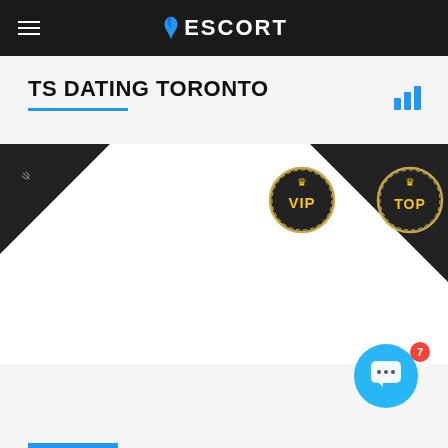ESCORT
TS DATING TORONTO
[Figure (screenshot): Listing cards with membership badges: BRILLIANT ribbon, VIP badge, DIAMOND ribbon, TOP badge]
[Figure (infographic): Chat support button with notification badge showing 7]